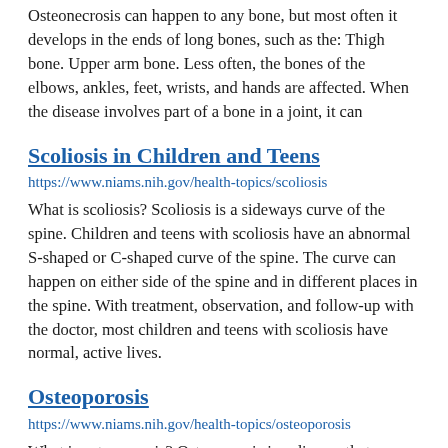Osteonecrosis can happen to any bone, but most often it develops in the ends of long bones, such as the: Thigh bone. Upper arm bone. Less often, the bones of the elbows, ankles, feet, wrists, and hands are affected. When the disease involves part of a bone in a joint, it can
Scoliosis in Children and Teens
https://www.niams.nih.gov/health-topics/scoliosis
What is scoliosis? Scoliosis is a sideways curve of the spine. Children and teens with scoliosis have an abnormal S-shaped or C-shaped curve of the spine. The curve can happen on either side of the spine and in different places in the spine. With treatment, observation, and follow-up with the doctor, most children and teens with scoliosis have normal, active lives.
Osteoporosis
https://www.niams.nih.gov/health-topics/osteoporosis
What is osteoporosis? Osteoporosis is a disease that causes bones to become weak and brittle. This increases your risk of broken bones (fractures). Osteoporosis is a “silent” disease because you may not have symptoms. You may not even know you have the disease until you break a bone. Breaks can occur in any bone but happen most often in: Hip bones. Vertebrae in the spine. Wrist. You